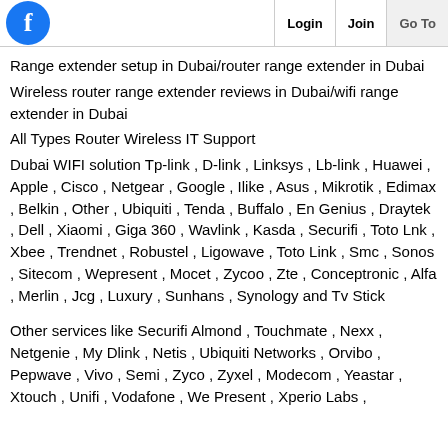f | Login | Join | Go To
Range extender setup in Dubai/router range extender in Dubai
Wireless router range extender reviews in Dubai/wifi range extender in Dubai
All Types Router Wireless IT Support
Dubai WIFI solution Tp-link , D-link , Linksys , Lb-link , Huawei , Apple , Cisco , Netgear , Google , Ilike , Asus , Mikrotik , Edimax , Belkin , Other , Ubiquiti , Tenda , Buffalo , En Genius , Draytek , Dell , Xiaomi , Giga 360 , Wavlink , Kasda , Securifi , Toto Lnk , Xbee , Trendnet , Robustel , Ligowave , Toto Link , Smc , Sonos , Sitecom , Wepresent , Mocet , Zycoo , Zte , Conceptronic , Alfa , Merlin , Jcg , Luxury , Sunhans , Synology and Tv Stick
Other services like Securifi Almond , Touchmate , Nexx , Netgenie , My Dlink , Netis , Ubiquiti Networks , Orvibo , Pepwave , Vivo , Semi , Zyco , Zyxel , Modecom , Yeastar , Xtouch , Unifi , Vodafone , We Present , Xperio Labs ,